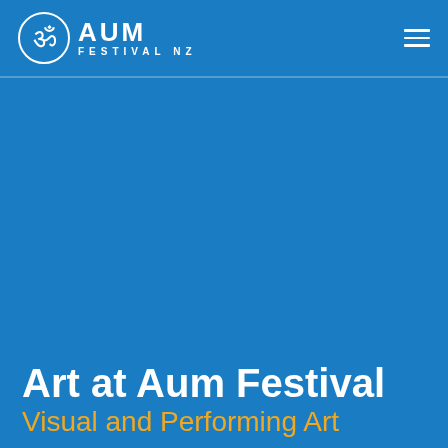AUM FESTIVAL NZ
Art at Aum Festival
Visual and Performing Art